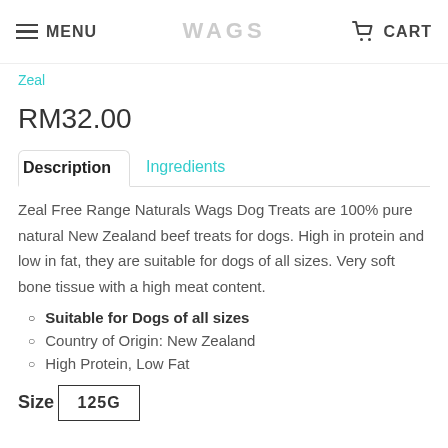WAGS  MENU  CART
Zeal
RM32.00
Description  Ingredients
Zeal Free Range Naturals Wags Dog Treats are 100% pure natural New Zealand beef treats for dogs. High in protein and low in fat, they are suitable for dogs of all sizes. Very soft bone tissue with a high meat content.
Suitable for Dogs of all sizes
Country of Origin: New Zealand
High Protein, Low Fat
Size
125G